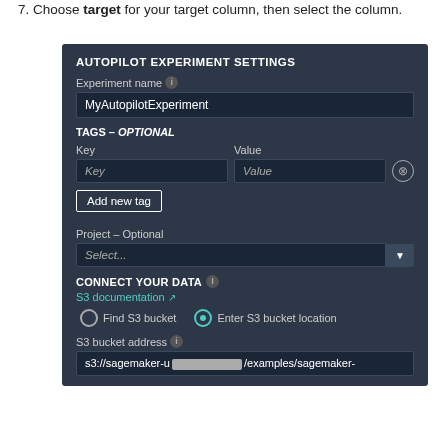7. Choose target for your target column, then select the column.
[Figure (screenshot): AWS SageMaker Autopilot Experiment Settings UI panel showing: Experiment name field with 'MyAutopilotExperiment', Tags - Optional section with Key/Value fields, Add new tag button, Project - Optional dropdown with 'Select...', Connect Your Data section with S3 documentation link, radio buttons for 'Find S3 bucket' and 'Enter S3 bucket location' (selected), and S3 bucket address field showing partial URL 's3://sagemaker-u[redacted]/examples/sagemaker-']